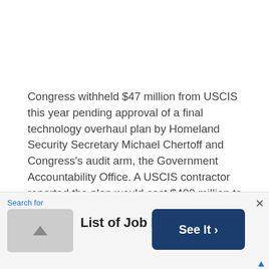Congress withheld $47 million from USCIS this year pending approval of a final technology overhaul plan by Homeland Security Secretary Michael Chertoff and Congress's audit arm, the Government Accountability Office. A USCIS contractor reported the plan would cost $400 million to $1.4 billion, depending on what the agency decides it needs.
Hope is on the way?